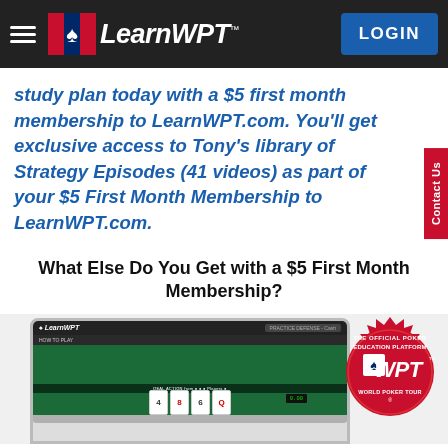LearnWPT — LOGIN
study plan today with a $5 first month membership to LearnWPT.com. You'll get exclusive access to Tony's library of Strategy Episodes (41 videos) as part of your $5 First Month Membership to LearnWPT.com.
What Else Do You Get with a $5 First Month Membership?
[Figure (screenshot): LearnWPT website screenshot showing a poker table interface with playing cards and a WPT official poker education platform badge/seal]